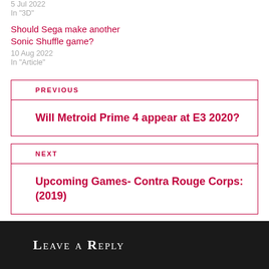5 Jul 2022
In "3D"
Should Sega make another Sonic Shuffle game?
10 Aug 2022
In "Article"
PREVIOUS
Will Metroid Prime 4 appear at E3 2020?
NEXT
Upcoming Games- Contra Rouge Corps: (2019)
Leave a Reply